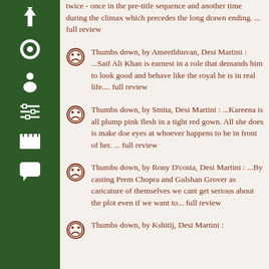[Figure (other): Green sidebar with navigation icons: up arrow, circle, person, sliders, film clapper, speech bubble]
twice - once in the pre-title sequence and another time during the climax which precedes the long drawn ending. ... full review
Thumbs down, by Ameetbhuvan, Desi Martini : ...Saif Ali Khan is earnest in a role that demands him to look good and behave like the royal he is in real life.... full review
Thumbs down, by Smita, Desi Martini : ...Kareena is all plump pink flesh in a tight red gown. All she does is make doe eyes at whoever happens to be in front of her. ... full review
Thumbs down, by Rony D'costa, Desi Martini : ...By casting Prem Chopra and Gulshan Grover as caricature of themselves we cant get serious about the plot even if we want to... full review
Thumbs down, by [partially visible], Desi Martini :